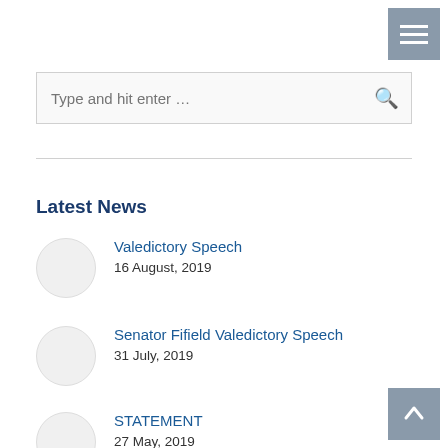[Figure (other): Hamburger menu icon button in grey square, top right corner]
[Figure (screenshot): Search input box with placeholder text 'Type and hit enter ...' and a search icon]
Latest News
Valedictory Speech
16 August, 2019
Senator Fifield Valedictory Speech
31 July, 2019
STATEMENT
27 May, 2019
[Figure (other): Back to top arrow button in grey square, bottom right corner]